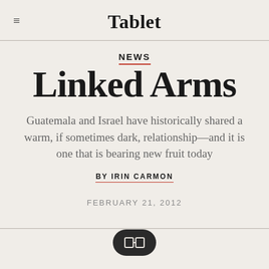Tablet
NEWS
Linked Arms
Guatemala and Israel have historically shared a warm, if sometimes dark, relationship—and it is one that is bearing new fruit today
BY IRIN CARMON
FEBRUARY 21, 2012